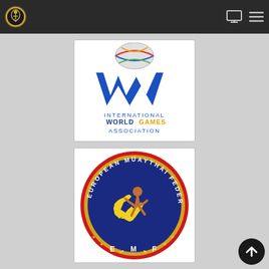[Figure (screenshot): Website navigation bar with circular logo on left and monitor/menu icons on right, dark background]
[Figure (logo): International World Games Association logo: blue stylized W shape with colorful ball above, text INTERNATIONAL WORLDGAMES ASSOCIATION below]
[Figure (logo): European Muaythai Federation circular badge logo: red and gold border with text EUROPEAN MUAYTHAI FEDERATION and E.M.F., blue center with yellow figure of fighter and map of Europe]